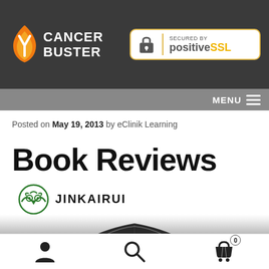[Figure (logo): Cancer Buster logo with flame/Y icon and text, SSL secured badge, and hamburger menu]
Posted on May 19, 2013 by eClinik Learning
Book Reviews
[Figure (logo): Jinkairui brand logo with green owl-like icon and JINKAIRUI text]
[Figure (photo): Top portion of a dark massage chair or office chair in black/dark grey]
[Figure (other): Bottom tab bar with user profile icon, search icon, and shopping cart icon with 0 badge]